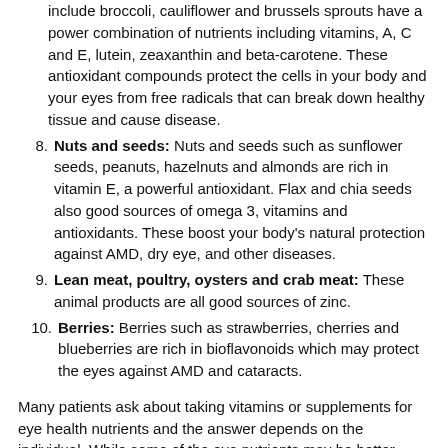(continuation) include broccoli, cauliflower and brussels sprouts have a power combination of nutrients including vitamins, A, C and E, lutein, zeaxanthin and beta-carotene. These antioxidant compounds protect the cells in your body and your eyes from free radicals that can break down healthy tissue and cause disease.
8. Nuts and seeds: Nuts and seeds such as sunflower seeds, peanuts, hazelnuts and almonds are rich in vitamin E, a powerful antioxidant. Flax and chia seeds also good sources of omega 3, vitamins and antioxidants. These boost your body's natural protection against AMD, dry eye, and other diseases.
9. Lean meat, poultry, oysters and crab meat: These animal products are all good sources of zinc.
10. Berries: Berries such as strawberries, cherries and blueberries are rich in bioflavonoids which may protect the eyes against AMD and cataracts.
Many patients ask about taking vitamins or supplements for eye health nutrients and the answer depends on the individual. While some of the eye nutrients may be better absorbed in the correct proportions when ingested as food rather than